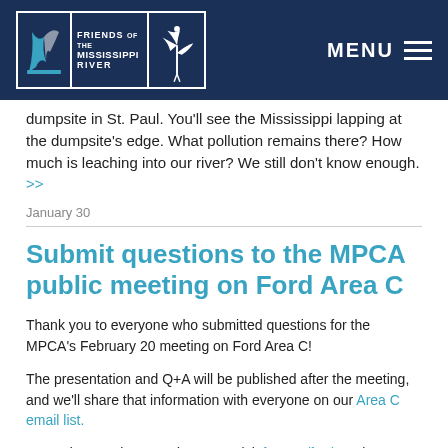[Figure (logo): Friends of the Mississippi River logo with heron, on dark navy navigation bar with MENU toggle]
dumpsite in St. Paul. You'll see the Mississippi lapping at the dumpsite's edge. What pollution remains there? How much is leaching into our river? We still don't know enough. >>
January 30
Submit questions to the MPCA public meeting on Ford Area C
Thank you to everyone who submitted questions for the MPCA's February 20 meeting on Ford Area C!
The presentation and Q+A will be published after the meeting, and we'll share that information with everyone on our Area C email list.
To read more about Ford Area C, visit fmr.org/ford, or the MPCA's